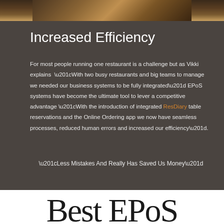[Figure (photo): Restaurant interior photo strip at top of page showing dark ambiance with tables and chairs]
Increased Efficiency
For most people running one restaurant is a challenge but as Vikki explains “With two busy restaurants and big teams to manage we needed our business systems to be fully integrated” EPoS systems have become the ultimate tool to lever a competitive advantage “With the introduction of integrated ResDiary table reservations and the Online Ordering app we now have seamless processes, reduced human errors and increased our efficiency”.
“Less Mistakes And Really Has Saved Us Money”
Best EPoS